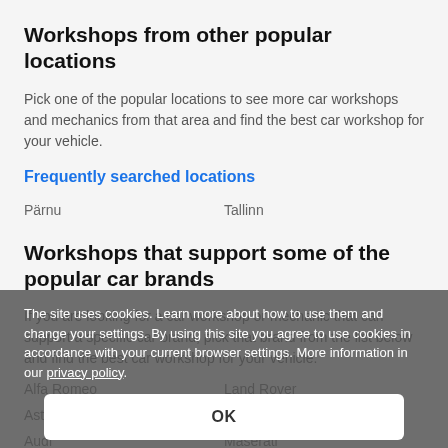Workshops from other popular locations
Pick one of the popular locations to see more car workshops and mechanics from that area and find the best car workshop for your vehicle.
Frequently searched locations
Pärnu
Tallinn
Workshops that support some of the popular car brands
If you are looking for a car workshop or mechanic that can support a specific car brand, pick that brand from the list below and find the best car workshop for your vehicle.
Alfa Romeo
Land Rover
Aston Martin
Lexus
Audi
Maserati
The site uses cookies. Learn more about how to use them and change your settings. By using this site you agree to use cookies in accordance with your current browser settings. More information in our privacy policy.
OK